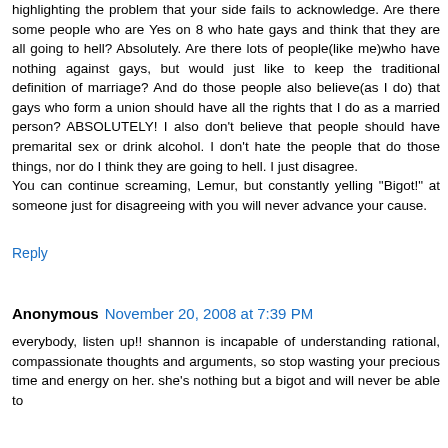highlighting the problem that your side fails to acknowledge. Are there some people who are Yes on 8 who hate gays and think that they are all going to hell? Absolutely. Are there lots of people(like me)who have nothing against gays, but would just like to keep the traditional definition of marriage? And do those people also believe(as I do) that gays who form a union should have all the rights that I do as a married person? ABSOLUTELY! I also don't believe that people should have premarital sex or drink alcohol. I don't hate the people that do those things, nor do I think they are going to hell. I just disagree. You can continue screaming, Lemur, but constantly yelling "Bigot!" at someone just for disagreeing with you will never advance your cause.
Reply
Anonymous November 20, 2008 at 7:39 PM
everybody, listen up!! shannon is incapable of understanding rational, compassionate thoughts and arguments, so stop wasting your precious time and energy on her. she's nothing but a bigot and will never be able to